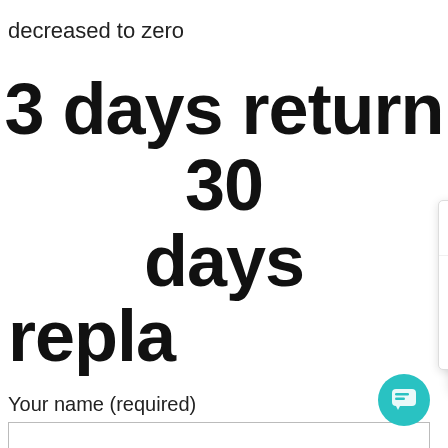decreased to zero
3 days return 30 days
repla
Your name (required)
Your email (required)
[Figure (screenshot): Chat popup overlay with FASTE logo, close button, and message: Hello, We are orthotic insoles & orthopedic shoes , socks & EVA milling blocks supplier, May I know your interested products?]
[Figure (other): Teal circular chat button in bottom-right corner]